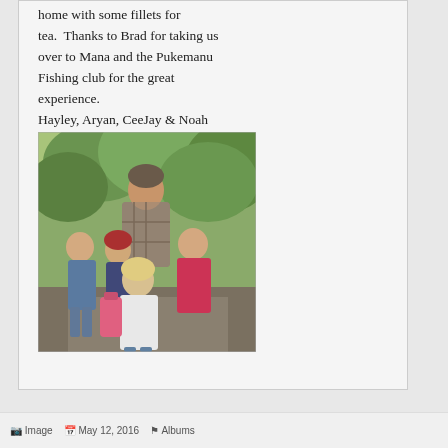home with some fillets for tea.  Thanks to Brad for taking us over to Mana and the Pukemanu Fishing club for the great experience.
Hayley, Aryan, CeeJay & Noah
[Figure (photo): Group photo of an adult man and three or four children standing outdoors in front of green trees and foliage.]
Image   May 12, 2016   Albums